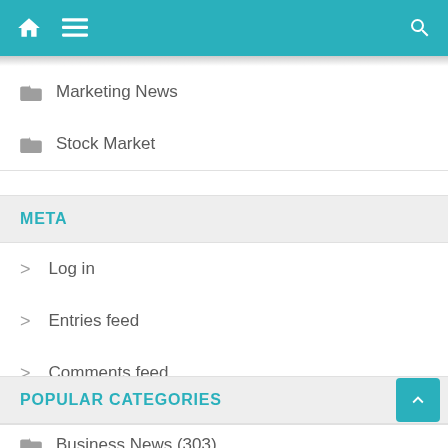Home | Menu | Search
Marketing News
Stock Market
META
Log in
Entries feed
Comments feed
WordPress.org
POPULAR CATEGORIES
Business News (303)